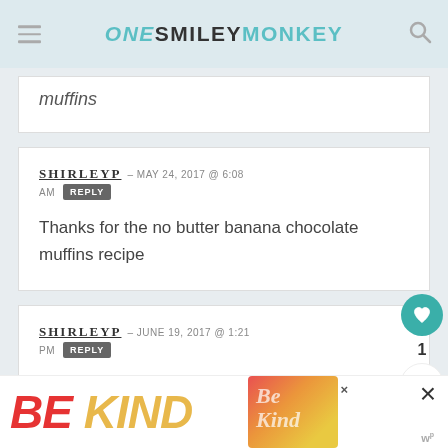ONE SMILEY MONKEY
muffins
SHIRLEYP – MAY 24, 2017 @ 6:08 AM  REPLY
Thanks for the no butter banana chocolate muffins recipe
SHIRLEYP – JUNE 19, 2017 @ 1:21 PM  REPLY
This recipe looks really good
[Figure (other): BE KIND advertisement banner at the bottom of the page]